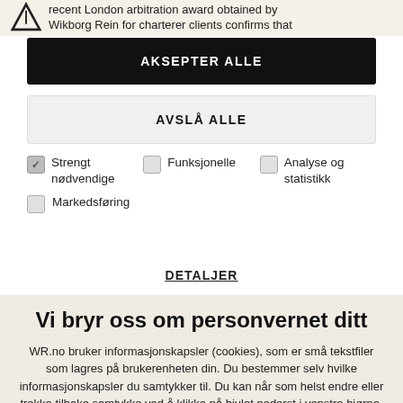recent London arbitration award obtained by Wikborg Rein for charterer clients confirms that
AKSEPTER ALLE
AVSLÅ ALLE
Strengt nødvendige
Funksjonelle
Analyse og statistikk
Markedsføring
DETALJER
Vi bryr oss om personvernet ditt
WR.no bruker informasjonskapsler (cookies), som er små tekstfiler som lagres på brukerenheten din. Du bestemmer selv hvilke informasjonskapsler du samtykker til. Du kan når som helst endre eller trekke tilbake samtykke ved å klikke på hjulet nederst i venstre hjørne.